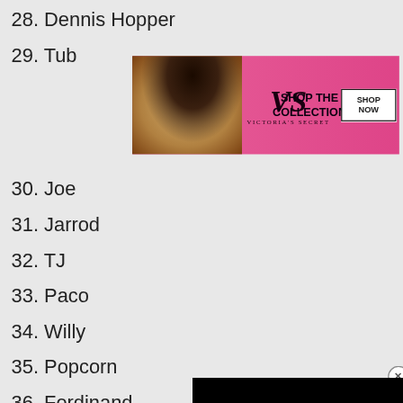28. Dennis Hopper
29. Tub[ular Bells]
[Figure (infographic): Victoria's Secret advertisement banner with woman model, VS logo, 'SHOP THE COLLECTION' text and 'SHOP NOW' button on pink background]
30. Joe
31. Jarrod
32. TJ
33. Paco
34. Willy
35. Popcorn
[Figure (screenshot): Black video player overlay with loading spinner arc, close X button]
36. Ferdinand
37. Long
38. Acro
39. Skinny
40. Zoo[ander]
[Figure (infographic): Macy's advertisement: 'KISS BORING LIPS GOODBYE' with red lips model, SHOP NOW button and Macy's star logo]
41. Bibb[...] (partially visible)